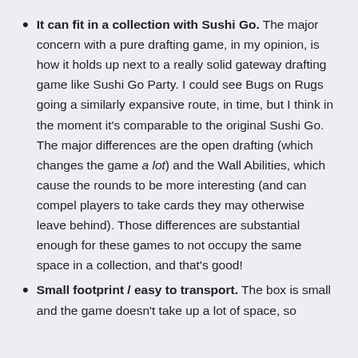It can fit in a collection with Sushi Go. The major concern with a pure drafting game, in my opinion, is how it holds up next to a really solid gateway drafting game like Sushi Go Party. I could see Bugs on Rugs going a similarly expansive route, in time, but I think in the moment it's comparable to the original Sushi Go. The major differences are the open drafting (which changes the game a lot) and the Wall Abilities, which cause the rounds to be more interesting (and can compel players to take cards they may otherwise leave behind). Those differences are substantial enough for these games to not occupy the same space in a collection, and that's good!
Small footprint / easy to transport. The box is small and the game doesn't take up a lot of space, so